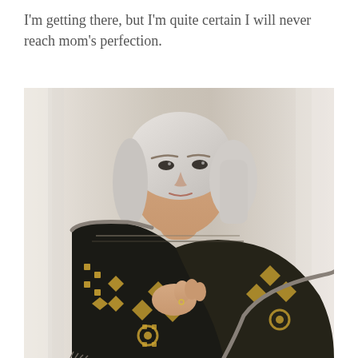I'm getting there, but I'm quite certain I will never reach mom's perfection.
[Figure (photo): A woman with short gray-blonde hair wearing a dark patterned knitted or woven shawl/scarf with gold and black geometric/floral motifs, draped around her shoulders. She is looking upward to the left. The background is light/white, appearing to be fabric or curtains.]